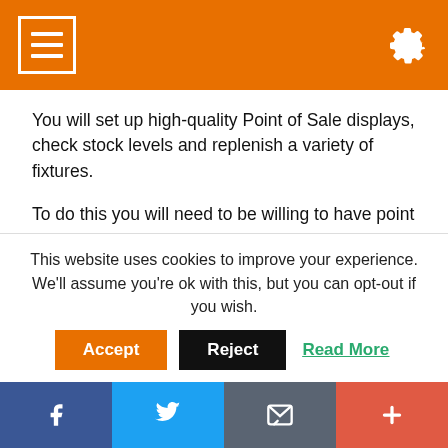Navigation bar with hamburger menu and settings gear icon
You will set up high-quality Point of Sale displays, check stock levels and replenish a variety of fixtures.
To do this you will need to be willing to have point of sale delivered to your home address which you will take into stores and set up as per the brief.
You will be able to manage your own workload within set time frames, be comfortable following a remote brief provided via a company tablet, taking before and after
This website uses cookies to improve your experience. We'll assume you're ok with this, but you can opt-out if you wish.
Accept | Reject | Read More
Social bar: Facebook, Twitter, Email, Plus